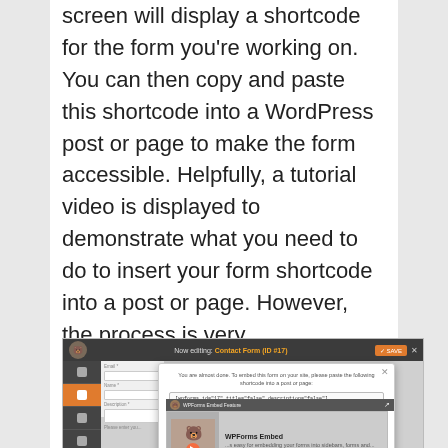screen will display a shortcode for the form you’re working on. You can then copy and paste this shortcode into a WordPress post or page to make the form accessible. Helpfully, a tutorial video is displayed to demonstrate what you need to do to insert your form shortcode into a post or page. However, the process is very straightforward.
[Figure (screenshot): Screenshot of WPForms interface showing a modal dialog with a shortcode [wpforms id="17" title="false" description="false"] for embedding a contact form, with a WPForms Embed tutorial video thumbnail below.]